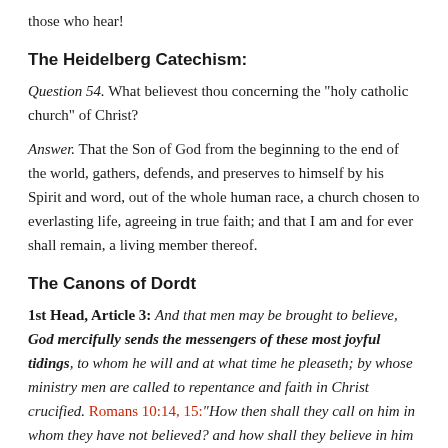those who hear!
The Heidelberg Catechism:
Question 54. What believest thou concerning the "holy catholic church" of Christ?
Answer. That the Son of God from the beginning to the end of the world, gathers, defends, and preserves to himself by his Spirit and word, out of the whole human race, a church chosen to everlasting life, agreeing in true faith; and that I am and for ever shall remain, a living member thereof.
The Canons of Dordt
1st Head, Article 3: And that men may be brought to believe, God mercifully sends the messengers of these most joyful tidings, to whom he will and at what time he pleaseth; by whose ministry men are called to repentance and faith in Christ crucified. Romans 10:14, 15:"How then shall they call on him in whom they have not believed? and how shall they believe in him of whom they